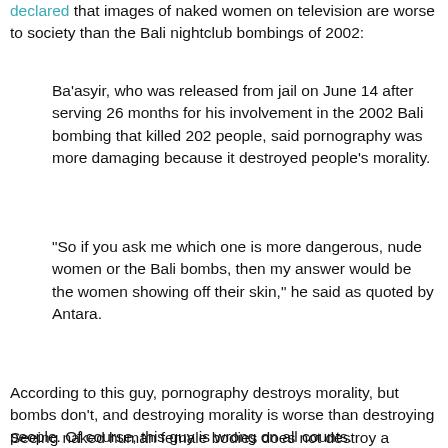declared that images of naked women on television are worse to society than the Bali nightclub bombings of 2002:
Ba'asyir, who was released from jail on June 14 after serving 26 months for his involvement in the 2002 Bali bombing that killed 202 people, said pornography was more damaging because it destroyed people's morality.
"So if you ask me which one is more dangerous, nude women or the Bali bombs, then my answer would be the women showing off their skin," he said as quoted by Antara.
According to this guy, pornography destroys morality, but bombs don't, and destroying morality is worse than destroying people. Of course, this guy is wrong on all counts.
Seeing naked human female bodies does not destroy a person's ability to determine what is a moral or immoral